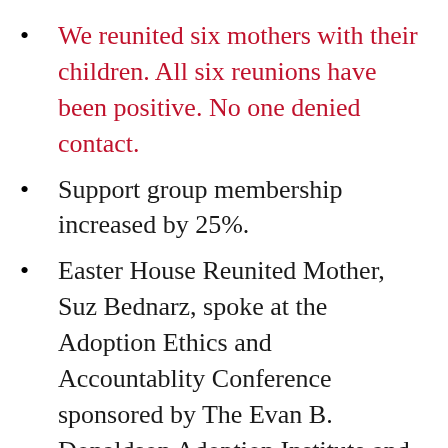We reunited six mothers with their children. All six reunions have been positive. No one denied contact.
Support group membership increased by 25%.
Easter House Reunited Mother, Suz Bednarz, spoke at the Adoption Ethics and Accountablity Conference sponsored by The Evan B. Donaldson Adoption Institute and Ethica, Inc.
Reunited Easter House adoptee, Jean Provance, and her partner formed One Voice, No Secrets. The organization is dedicated to changing the face of adoption in the United States. The organization sponsored the "I Vote!" campaign